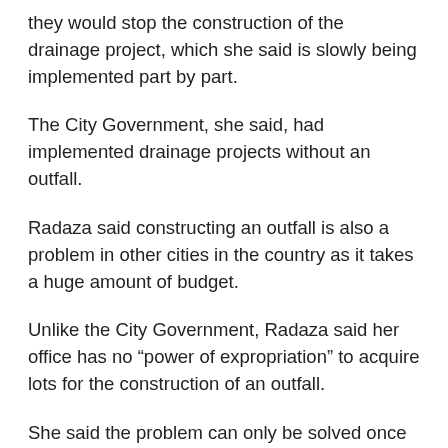they would stop the construction of the drainage project, which she said is slowly being implemented part by part.
The City Government, she said, had implemented drainage projects without an outfall.
Radaza said constructing an outfall is also a problem in other cities in the country as it takes a huge amount of budget.
Unlike the City Government, Radaza said her office has no “power of expropriation” to acquire lots for the construction of an outfall.
She said the problem can only be solved once they continue to construct drainage in different areas in the city and other facilities needed such as outfall.
Radaza, however, asked the constituents for forgiveness